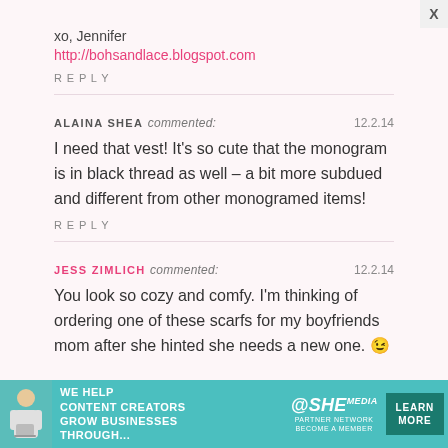xo, Jennifer
http://bohsandlace.blogspot.com
REPLY
ALAINA SHEA commented:  12.2.14
I need that vest! It's so cute that the monogram is in black thread as well – a bit more subdued and different from other monogramed items!
REPLY
JESS ZIMLICH commented:  12.2.14
You look so cozy and comfy. I'm thinking of ordering one of these scarfs for my boyfriends mom after she hinted she needs a new one. 😉
[Figure (infographic): SHE Partner Network advertisement banner at bottom: 'WE HELP CONTENT CREATORS GROW BUSINESSES THROUGH... LEARN MORE. BECOME A MEMBER']